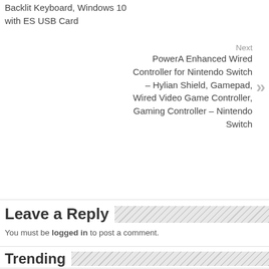Backlit Keyboard, Windows 10 with ES USB Card
Next
PowerA Enhanced Wired Controller for Nintendo Switch – Hylian Shield, Gamepad, Wired Video Game Controller, Gaming Controller – Nintendo Switch
Leave a Reply
You must be logged in to post a comment.
Trending
ZJFKSDYX C87 Wireless Gaming Keyboard and Mouse Combo price in bd
anbox Manjaro
We use cookies on our website to give you the most relevant experience by remembering your preferences and repeat visits. By clicking “Accept”, you consent to the use of ALL the cookies.
Cookie settings   ACCEPT